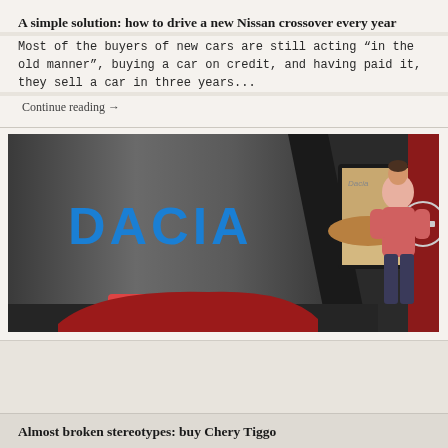A simple solution: how to drive a new Nissan crossover every year
Most of the buyers of new cars are still acting “in the old manner”, buying a car on credit, and having paid it, they sell a car in three years...
Continue reading →
[Figure (photo): Dacia car show booth display with DACIA logo on large panel, a screen showing a car in desert, and a person in pink sweater standing near display]
Almost broken stereotypes: buy Chery Tiggo